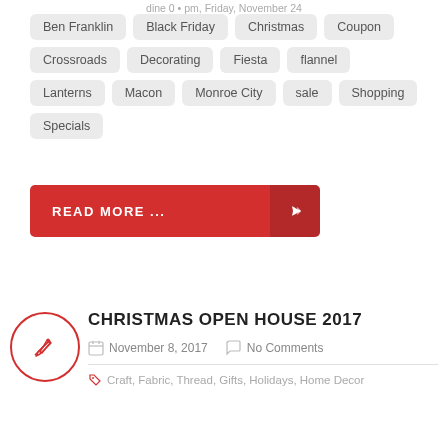dine 0 • pm, Friday, November 24
Ben Franklin
Black Friday
Christmas
Coupon
Crossroads
Decorating
Fiesta
flannel
Lanterns
Macon
Monroe City
sale
Shopping
Specials
READ MORE ...
CHRISTMAS OPEN HOUSE 2017
November 8, 2017   No Comments
Craft, Fabric, Thread, Gifts, Holidays, Home Decor